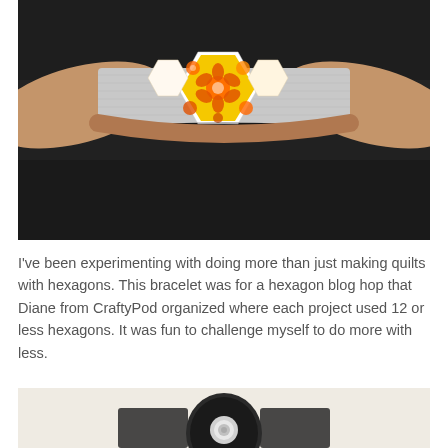[Figure (photo): Close-up photo of a wrist wearing a fabric bracelet made from hexagon-patterned fabric (orange floral on yellow and white background) mounted on a grey felt band, photographed against a dark surface.]
I've been experimenting with doing more than just making quilts with hexagons. This bracelet was for a hexagon blog hop that Diane from CraftyPod organized where each project used 12 or less hexagons. It was fun to challenge myself to do more with less.
[Figure (photo): Partial photo showing what appears to be a circular dark object (possibly a button or clasp) against a light beige background.]